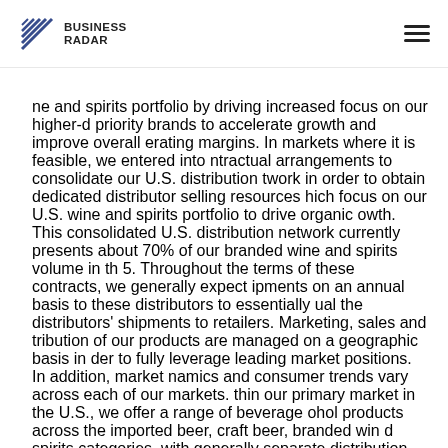BUSINESS RADAR
ne and spirits portfolio by driving increased focus on our higher-d priority brands to accelerate growth and improve overall erating margins. In markets where it is feasible, we entered into ntractual arrangements to consolidate our U.S. distribution twork in order to obtain dedicated distributor selling resources hich focus on our U.S. wine and spirits portfolio to drive organic owth. This consolidated U.S. distribution network currently presents about 70% of our branded wine and spirits volume in th 5. Throughout the terms of these contracts, we generally expect ipments on an annual basis to these distributors to essentially ual the distributors' shipments to retailers. Marketing, sales and tribution of our products are managed on a geographic basis in der to fully leverage leading market positions. In addition, market namics and consumer trends vary across each of our markets. thin our primary market in the U.S., we offer a range of beverage ohol products across the imported beer, craft beer, branded win d spirits categories, with generally separate distribution networks